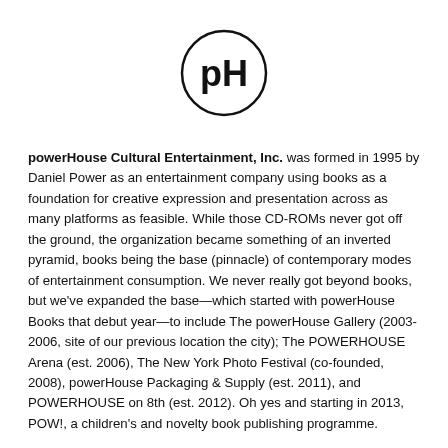[Figure (logo): powerHouse (pH) logo: circle with 'pH' text inside in bold]
powerHouse Cultural Entertainment, Inc. was formed in 1995 by Daniel Power as an entertainment company using books as a foundation for creative expression and presentation across as many platforms as feasible. While those CD-ROMs never got off the ground, the organization became something of an inverted pyramid, books being the base (pinnacle) of contemporary modes of entertainment consumption. We never really got beyond books, but we've expanded the base—which started with powerHouse Books that debut year—to include The powerHouse Gallery (2003-2006, site of our previous location the city); The POWERHOUSE Arena (est. 2006), The New York Photo Festival (co-founded, 2008), powerHouse Packaging & Supply (est. 2011), and POWERHOUSE on 8th (est. 2012). Oh yes and starting in 2013, POW!, a children's and novelty book publishing programme.